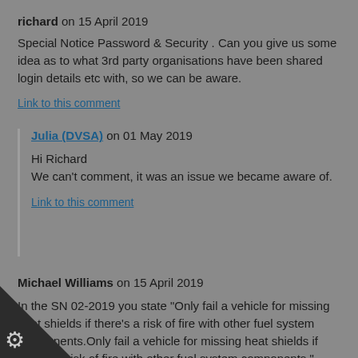richard on 15 April 2019
Special Notice Password & Security . Can you give us some idea as to what 3rd party organisations have been shared login details etc with, so we can be aware.
Link to this comment
Julia (DVSA) on 01 May 2019
Hi Richard
We can’t comment, it was an issue we became aware of.
Link to this comment
Michael Williams on 15 April 2019
In the SN 02-2019 you state "Only fail a vehicle for missing heat shields if there's a risk of fire with other fuel system components.Only fail a vehicle for missing heat shields if there's a risk of fire with other fuel system components."
 our local VE's have been saying that the